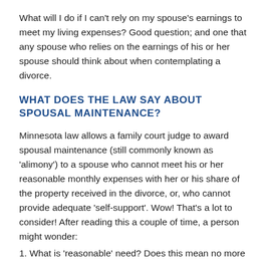What will I do if I can't rely on my spouse's earnings to meet my living expenses? Good question; and one that any spouse who relies on the earnings of his or her spouse should think about when contemplating a divorce.
WHAT DOES THE LAW SAY ABOUT SPOUSAL MAINTENANCE?
Minnesota law allows a family court judge to award spousal maintenance (still commonly known as 'alimony') to a spouse who cannot meet his or her reasonable monthly expenses with her or his share of the property received in the divorce, or, who cannot provide adequate 'self-support'. Wow! That's a lot to consider! After reading this a couple of time, a person might wonder:
1. What is 'reasonable' need? Does this mean no more extravagant living? Do I—